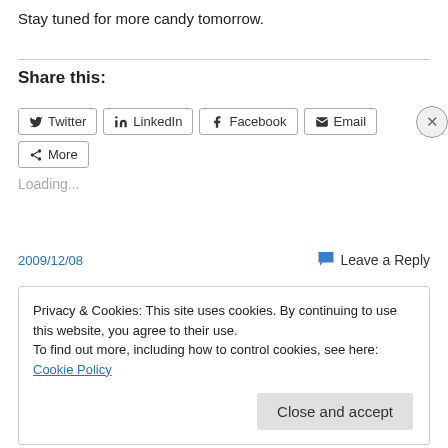Stay tuned for more candy tomorrow.
Share this:
[Figure (other): Social sharing buttons: Twitter, LinkedIn, Facebook, Email, More]
Loading...
2009/12/08
Leave a Reply
Privacy & Cookies: This site uses cookies. By continuing to use this website, you agree to their use. To find out more, including how to control cookies, see here: Cookie Policy
Close and accept